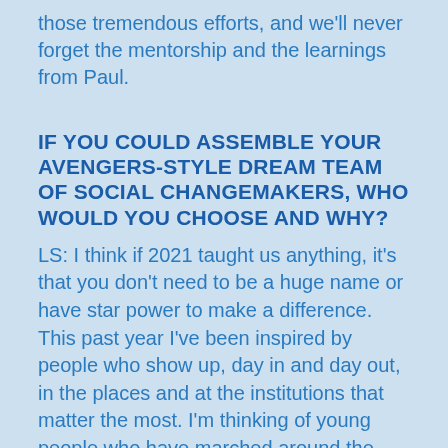those tremendous efforts, and we'll never forget the mentorship and the learnings from Paul.
IF YOU COULD ASSEMBLE YOUR AVENGERS-STYLE DREAM TEAM OF SOCIAL CHANGEMAKERS, WHO WOULD YOU CHOOSE AND WHY?
LS: I think if 2021 taught us anything, it's that you don't need to be a huge name or have star power to make a difference. This past year I've been inspired by people who show up, day in and day out, in the places and at the institutions that matter the most. I'm thinking of young people who have marched around the world for climate action, poll workers and